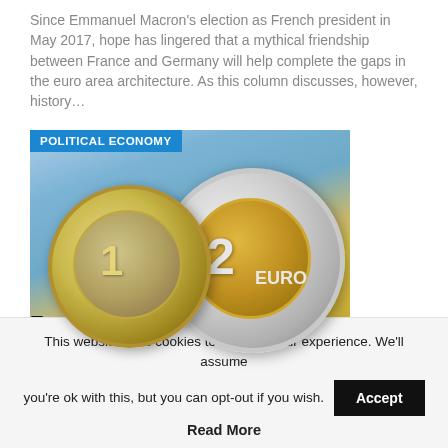Since Emmanuel Macron's election as French president in May 2017, hope has lingered that a mythical friendship between France and Germany will help complete the gaps in the euro area architecture. As this column discusses, however, history...
[Figure (photo): Photo of two euro coins (1 euro and 2 euro) placed on a map, with a blue label overlay reading POLITICAL ECONOMY]
European reform and the German model to the rescue
EDWARD HARRIS...   Jan 3, 2018
When we talk about winners and losers in Euroland, the natural question
This website uses cookies to improve your experience. We'll assume you're ok with this, but you can opt-out if you wish.
Read More